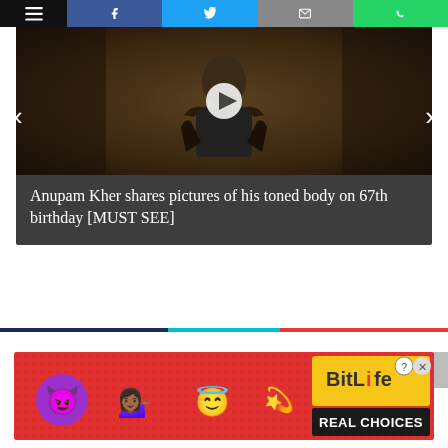[Figure (screenshot): Top navigation bar with hamburger menu (black), Facebook share button (dark blue), Twitter share button (light blue), email button (gray), WhatsApp button (green)]
[Figure (photo): A muscular bald man in a black tank top posing with hands on hips in a dark room, with a play button overlay indicating a video thumbnail]
Anupam Kher shares pictures of his toned body on 67th birthday [MUST SEE]
[Figure (infographic): Horizontal color separator bar with navy, cyan, and red segments]
[Figure (screenshot): BitLife Real Choices advertisement banner with emoji characters on red background]